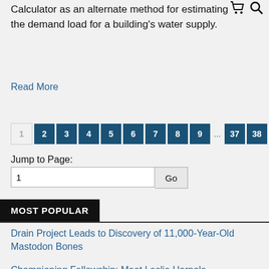Calculator as an alternate method for estimating the demand load for a building's water supply.
Read More
1 2 3 4 5 6 7 8 9 … 37 38 Next
Jump to Page:
MOST POPULAR
Drain Project Leads to Discovery of 11,000-Year-Old Mastodon Bones
Championing Fellowship: Meet Leslie Harpole
Ashland City Leaders, A. O. Smith Celebrate Completion of Levee Construction